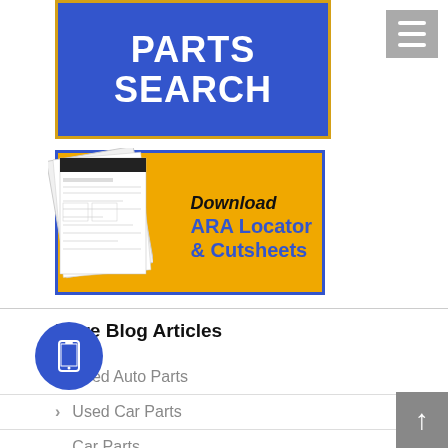[Figure (screenshot): Blue banner with white text reading PARTS SEARCH]
[Figure (illustration): Orange/yellow banner with document illustration and text: Download ARA Locator & Cutsheets]
More Blog Articles
Used Auto Parts
Used Car Parts
Car Parts
European Import Cars